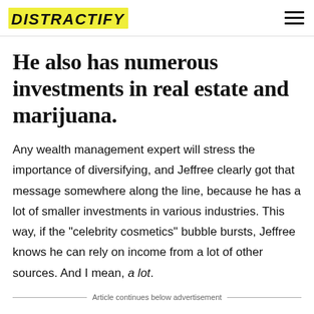DISTRACTIFY
He also has numerous investments in real estate and marijuana.
Any wealth management expert will stress the importance of diversifying, and Jeffree clearly got that message somewhere along the line, because he has a lot of smaller investments in various industries. This way, if the "celebrity cosmetics" bubble bursts, Jeffree knows he can rely on income from a lot of other sources. And I mean, a lot.
Article continues below advertisement